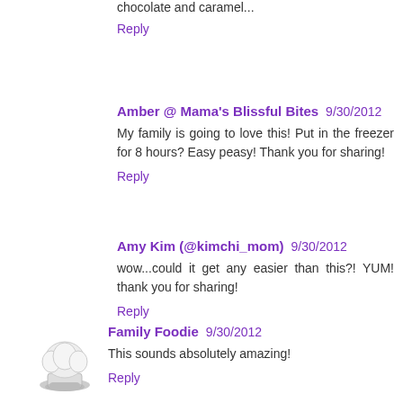chocolate and caramel...
Reply
Amber @ Mama's Blissful Bites 9/30/2012
My family is going to love this! Put in the freezer for 8 hours? Easy peasy! Thank you for sharing!
Reply
Amy Kim (@kimchi_mom) 9/30/2012
wow...could it get any easier than this?! YUM! thank you for sharing!
Reply
Family Foodie 9/30/2012
This sounds absolutely amazing!
Reply